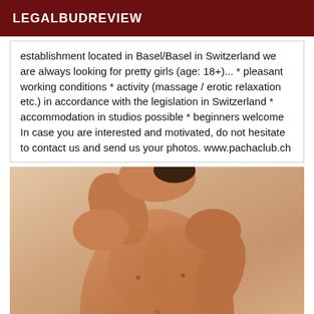LEGALBUDREVIEW
establishment located in Basel/Basel in Switzerland we are always looking for pretty girls (age: 18+)... * pleasant working conditions * activity (massage / erotic relaxation etc.) in accordance with the legislation in Switzerland * accommodation in studios possible * beginners welcome In case you are interested and motivated, do not hesitate to contact us and send us your photos. www.pachaclub.ch
[Figure (photo): Photo of a shirtless male torso]